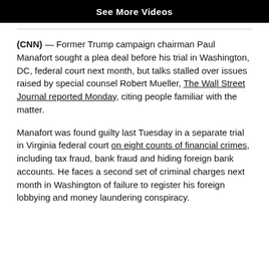[Figure (screenshot): Black banner with white bold text 'See More Videos']
(CNN) — Former Trump campaign chairman Paul Manafort sought a plea deal before his trial in Washington, DC, federal court next month, but talks stalled over issues raised by special counsel Robert Mueller, The Wall Street Journal reported Monday, citing people familiar with the matter.
Manafort was found guilty last Tuesday in a separate trial in Virginia federal court on eight counts of financial crimes, including tax fraud, bank fraud and hiding foreign bank accounts. He faces a second set of criminal charges next month in Washington of failure to register his foreign lobbying and money laundering conspiracy.